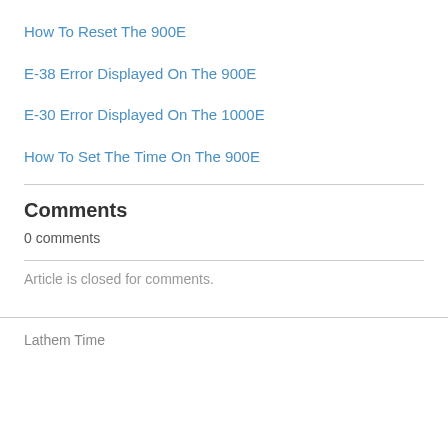How To Reset The 900E
E-38 Error Displayed On The 900E
E-30 Error Displayed On The 1000E
How To Set The Time On The 900E
Comments
0 comments
Article is closed for comments.
Lathem Time